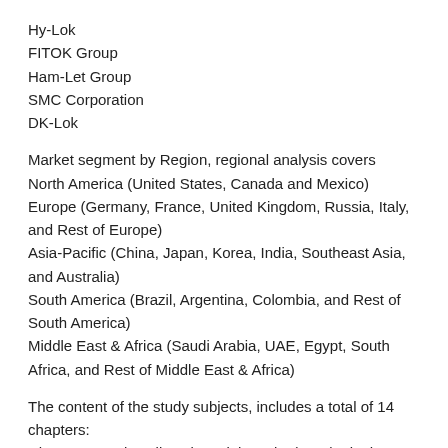Hy-Lok
FITOK Group
Ham-Let Group
SMC Corporation
DK-Lok
Market segment by Region, regional analysis covers
North America (United States, Canada and Mexico)
Europe (Germany, France, United Kingdom, Russia, Italy, and Rest of Europe)
Asia-Pacific (China, Japan, Korea, India, Southeast Asia, and Australia)
South America (Brazil, Argentina, Colombia, and Rest of South America)
Middle East & Africa (Saudi Arabia, UAE, Egypt, South Africa, and Rest of Middle East & Africa)
The content of the study subjects, includes a total of 14 chapters:
Chapter 1, to describe Ultra High Purity (UHP) Diaphragm